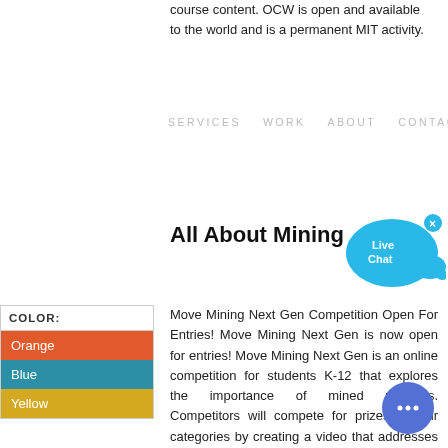course content. OCW is open and available to the world and is a permanent MIT activity.
SERVICES   WORK   ABOUT   CONTACT
All About Mining
[Figure (illustration): Live Chat bubble icon with blue speech bubble and fish/bird shape, with a close (x) button]
| COLOR: |
| --- |
| Orange |
| Blue |
| Yellow |
Move Mining Next Gen Competition Open For Entries! Move Mining Next Gen is now open for entries! Move Mining Next Gen is an online competition for students K-12 that explores the importance of mined minerals. Competitors will compete for prizes in four categories by creating a video that addresses why mining and minerals are...
[Figure (illustration): Round blue chat button with three dots (…) in white]